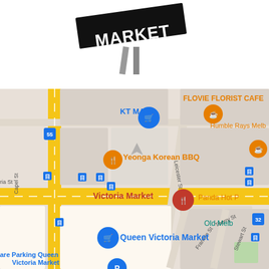[Figure (map): Google Maps screenshot showing the area around Queen Victoria Market in Melbourne, Australia. Visible landmarks include KT MART, FLOVIE FLORIST CAFE, Humble Rays Melbourne, Yeonga Korean BBQ, Victoria Market pin, Queen Victoria Market pin, Panda Hot Pot, Old Melbourne,are Parking Queen Victoria Market, and street names including Leicester St, Therry St, Franklin St, Stewart St, Capel St, and a road marked 55 and 32. A Queen Victoria Market logo (black sign with white text) appears in the upper left corner.]
[Figure (logo): Queen Victoria Market logo: black angled sign with white bold text reading MARKET and grey support poles below, positioned top-center of the page.]